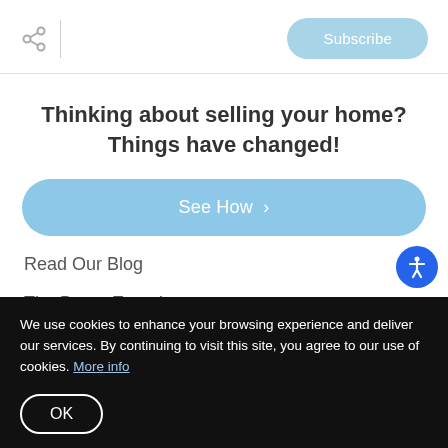Subscribe
Thinking about selling your home? Things have changed!
See How >
Read Our Blog
The Buyer Experience
The Seller Experience
We use cookies to enhance your browsing experience and deliver our services. By continuing to visit this site, you agree to our use of cookies. More info
OK